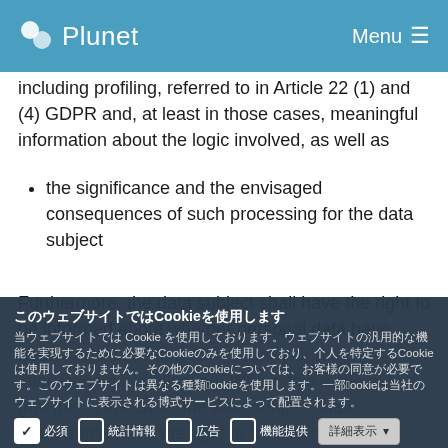Plunet | Menu
including profiling, referred to in Article 22 (1) and (4) GDPR and, at least in those cases, meaningful information about the logic involved, as well as
the significance and the envisaged consequences of such processing for the data subject
Furthermore, the data subject shall have the right to be informed about whether personal data have been transferred to a third country or to an international organisation. Where this is the extent that this is the case, the data subject shall furthermore have the right to be informed of the appropriate safeguards relating to the transfer.
Cookie consent overlay with Japanese text and checkboxes
access, he or she can contact our data protection officer or another employee.
Right to rectification